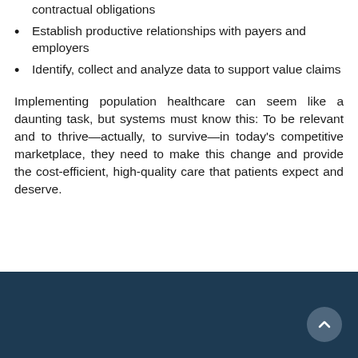contractual obligations
Establish productive relationships with payers and employers
Identify, collect and analyze data to support value claims
Implementing population healthcare can seem like a daunting task, but systems must know this: To be relevant and to thrive—actually, to survive—in today's competitive marketplace, they need to make this change and provide the cost-efficient, high-quality care that patients expect and deserve.
[Figure (other): Dark navy blue banner at the bottom of the page with a circular scroll-up button in the bottom right corner]